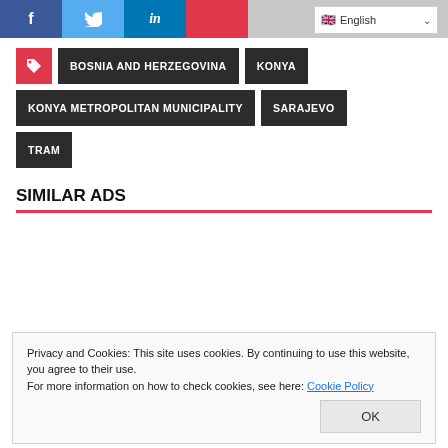Social share bar with Facebook, Twitter, LinkedIn icons and English language selector
BOSNIA AND HERZEGOVINA
KONYA
KONYA METROPOLITAN MUNICIPALITY
SARAJEVO
TRAM
SIMILAR ADS
Privacy and Cookies: This site uses cookies. By continuing to use this website, you agree to their use.
For more information on how to check cookies, see here: Cookie Policy
OK